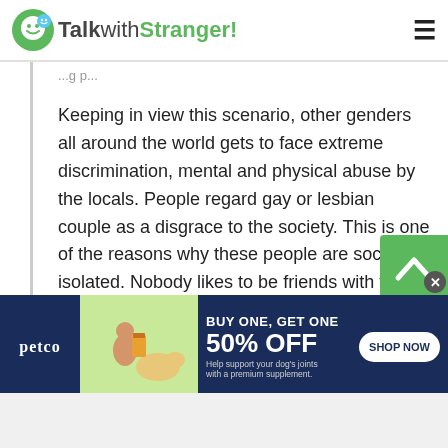TalkwithStranger!
Keeping in view this scenario, other genders all around the world gets to face extreme discrimination, mental and physical abuse by the locals. People regard gay or lesbian couple as a disgrace to the society. This is one of the reasons why these people are socially isolated. Nobody likes to be friends with them or hangout with them. People often hesitate to invite them to their parties. However, at Talk with Stranger platform, everyone is treated equally. No one is given priority or less
[Figure (screenshot): Petco advertisement banner: BUY ONE, GET ONE 50% OFF - Help support your dog's joints with a premium supplement. SHOP NOW button.]